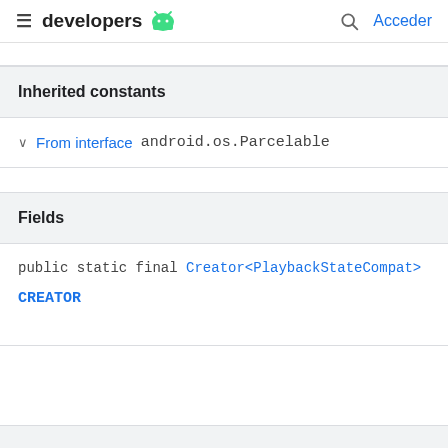developers  [android logo]  [search]  Acceder
Inherited constants
From interface android.os.Parcelable
Fields
public static final Creator<PlaybackStateCompat>
CREATOR